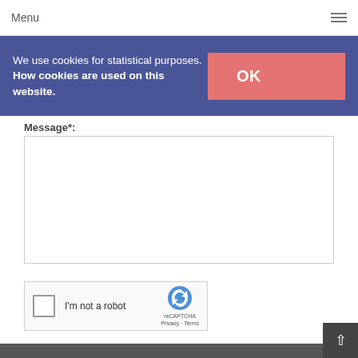Menu
We use cookies for statistical purposes. How cookies are used on this website.
Message*:
[Figure (screenshot): reCAPTCHA widget with checkbox labeled I'm not a robot, and reCAPTCHA logo with Privacy - Terms links]
Comment